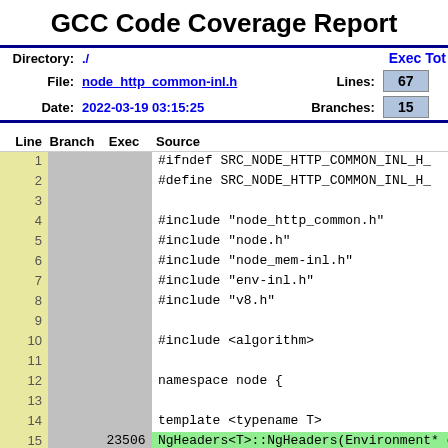GCC Code Coverage Report
| Field | Value | Exec | Tot |
| --- | --- | --- | --- |
| Directory: | ./ | Exec | Tot |
| File: | node_http_common-inl.h | Lines: | 67 | 8 |
| Date: | 2022-03-19 03:15:25 | Branches: | 15 | 2 |
| Line | Branch | Exec | Source |
| --- | --- | --- | --- |
| 1 |  |  | #ifndef SRC_NODE_HTTP_COMMON_INL_H_ |
| 2 |  |  | #define SRC_NODE_HTTP_COMMON_INL_H_ |
| 3 |  |  |  |
| 4 |  |  | #include "node_http_common.h" |
| 5 |  |  | #include "node.h" |
| 6 |  |  | #include "node_mem-inl.h" |
| 7 |  |  | #include "env-inl.h" |
| 8 |  |  | #include "v8.h" |
| 9 |  |  |  |
| 10 |  |  | #include <algorithm> |
| 11 |  |  |  |
| 12 |  |  | namespace node { |
| 13 |  |  |  |
| 14 |  |  | template <typename T> |
| 15 |  | 23506 | NgHeaders<T>::NgHeaders(Environment* en |
| 16 |  |  |   v8::Local<v8::Value> header_string = |
| 17 |  | 47012 |     headers->Get(env->context(), 0).T |